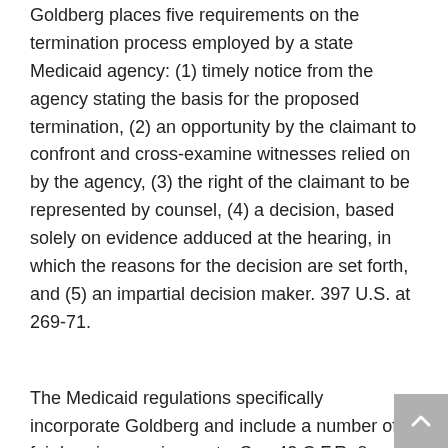Goldberg places five requirements on the termination process employed by a state Medicaid agency: (1) timely notice from the agency stating the basis for the proposed termination, (2) an opportunity by the claimant to confront and cross-examine witnesses relied on by the agency, (3) the right of the claimant to be represented by counsel, (4) a decision, based solely on evidence adduced at the hearing, in which the reasons for the decision are set forth, and (5) an impartial decision maker. 397 U.S. at 269-71.
The Medicaid regulations specifically incorporate Goldberg and include a number of fair hearing requirements. See 42 C.F.R. § 431.205(d). Among other things, the claimant must have an opportunity to examine his or her case file, as well as the